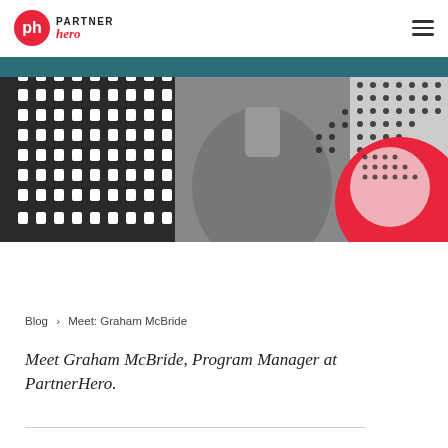PartnerHero — navigation header with logo and hamburger menu
[Figure (photo): Black and white photo of Graham McBride (man in grey button-up shirt) against a background with white dot-grid pattern on left and a red circle with pink center and black dot-grid overlay on the right]
Blog > Meet: Graham McBride
Meet Graham McBride, Program Manager at PartnerHero.